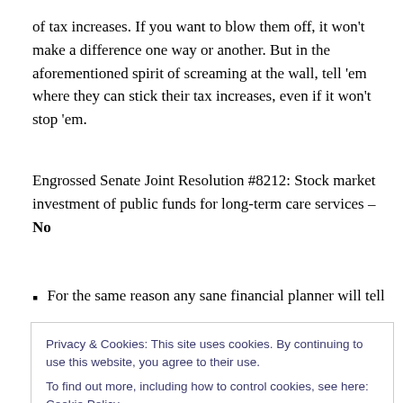of tax increases. If you want to blow them off, it won't make a difference one way or another. But in the aforementioned spirit of screaming at the wall, tell 'em where they can stick their tax increases, even if it won't stop 'em.
Engrossed Senate Joint Resolution #8212: Stock market investment of public funds for long-term care services – No
For the same reason any sane financial planner will tell
Privacy & Cookies: This site uses cookies. By continuing to use this website, you agree to their use.
To find out more, including how to control cookies, see here: Cookie Policy